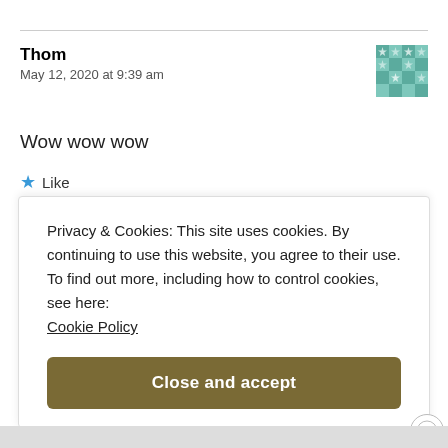Thom
May 12, 2020 at 9:39 am
Wow wow wow
★ Like
Reply
Privacy & Cookies: This site uses cookies. By continuing to use this website, you agree to their use.
To find out more, including how to control cookies, see here:
Cookie Policy
Close and accept